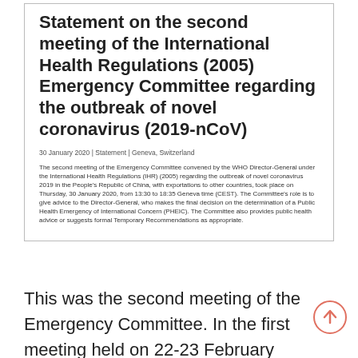Statement on the second meeting of the International Health Regulations (2005) Emergency Committee regarding the outbreak of novel coronavirus (2019-nCoV)
30 January 2020 | Statement | Geneva, Switzerland
The second meeting of the Emergency Committee convened by the WHO Director-General under the International Health Regulations (IHR) (2005) regarding the outbreak of novel coronavirus 2019 in the People's Republic of China, with exportations to other countries, took place on Thursday, 30 January 2020, from 13:30 to 18:35 Geneva time (CEST). The Committee's role is to give advice to the Director-General, who makes the final decision on the determination of a Public Health Emergency of International Concern (PHEIC). The Committee also provides public health advice or suggests formal Temporary Recommendations as appropriate.
This was the second meeting of the Emergency Committee. In the first meeting held on 22-23 February 2020, the Committee decided to hold off the declaration of COVID-19 as a PHEIC.